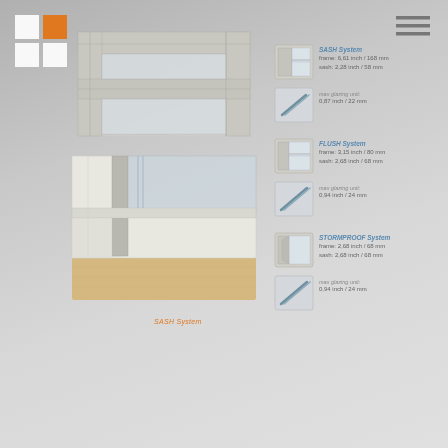[Figure (logo): Four-square logo with white and orange squares]
[Figure (engineering-diagram): Cross-section diagram of window frame system showing aluminum and wood construction, two panels]
SASH System
[Figure (illustration): Small icon showing window frame cross-section for SASH System]
SASH System
frame: 6,61 inch / 168 mm
sash: 2,28 inch / 58 mm
[Figure (illustration): Small icon showing glazing unit cross-section]
max glazing unit:
0,87 inch / 22 mm
[Figure (illustration): Small icon showing window frame cross-section for FLUSH System]
FLUSH System
frame: 3,15 inch / 80 mm
sash: 2,68 inch / 68 mm
[Figure (illustration): Small icon showing glazing unit cross-section for FLUSH]
max glazing unit:
0,94 inch / 24 mm
[Figure (illustration): Small icon showing window frame cross-section for STORMPROOF System]
STORMPROOF System
frame: 2,68 inch / 68 mm
sash: 2,68 inch / 68 mm
[Figure (illustration): Small icon showing glazing unit for STORMPROOF]
max glazing unit:
0,94 inch / 24 mm
[Figure (illustration): Hamburger menu icon (three horizontal lines)]